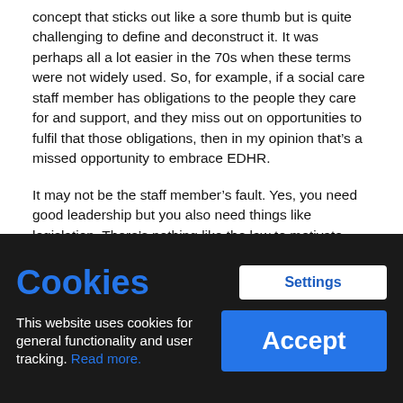concept that sticks out like a sore thumb but is quite challenging to define and deconstruct it. It was perhaps all a lot easier in the 70s when these terms were not widely used. So, for example, if a social care staff member has obligations to the people they care for and support, and they miss out on opportunities to fulfil that those obligations, then in my opinion that's a missed opportunity to embrace EDHR.
It may not be the staff member's fault. Yes, you need good leadership but you also need things like legislation. There's nothing like the law to motivate people! More importantly, systems have to be put in place to make all this happen; not just now but in the future. That way, individual staff members might be able to take on EDHR responsibilities and then apply them practically to their work; so that people's care and support is more tailored to them as real
Cookies
This website uses cookies for general functionality and user tracking. Read more.
Settings
Accept